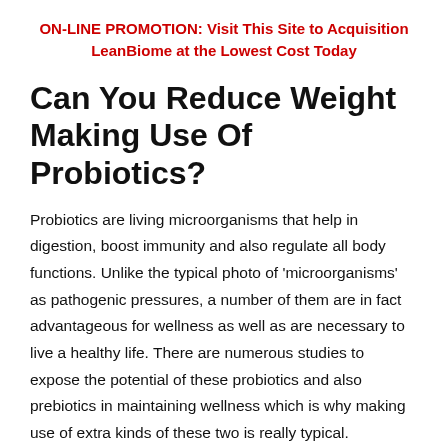ON-LINE PROMOTION: Visit This Site to Acquisition LeanBiome at the Lowest Cost Today
Can You Reduce Weight Making Use Of Probiotics?
Probiotics are living microorganisms that help in digestion, boost immunity and also regulate all body functions. Unlike the typical photo of 'microorganisms' as pathogenic pressures, a number of them are in fact advantageous for wellness as well as are necessary to live a healthy life. There are numerous studies to expose the potential of these probiotics and also prebiotics in maintaining wellness which is why making use of extra kinds of these two is really typical.
There is no magic in probiotic-based weight loss. The presence of these beneficial germs assists the body procedure and digest food